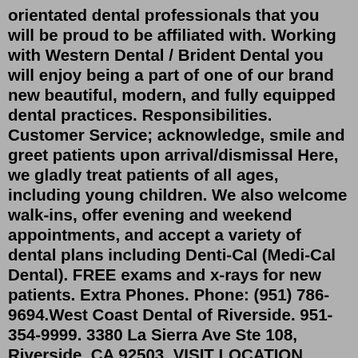orientated dental professionals that you will be proud to be affiliated with. Working with Western Dental / Brident Dental you will enjoy being a part of one of our brand new beautiful, modern, and fully equipped dental practices. Responsibilities. Customer Service; acknowledge, smile and greet patients upon arrival/dismissal Here, we gladly treat patients of all ages, including young children. We also welcome walk-ins, offer evening and weekend appointments, and accept a variety of dental plans including Denti-Cal (Medi-Cal Dental). FREE exams and x-rays for new patients. Extra Phones. Phone: (951) 786-9694.West Coast Dental of Riverside. 951-354-9999. 3380 La Sierra Ave Ste 108, Riverside, CA 92503. VISIT LOCATION. West Coast Dental of Rialto. 909-434-1000. 1315 W. Renaissance Parkway, Suite 870, Rialto, CA 92376. VISIT LOCATION. West Coast Dental of Whittier (Dr. Reddy Family Dentistry) 562-699-0343.Western Dental Services, Inc. Riverside, CA Full-Time. Apply on company site. Job Details. favorite, border. Located in Rialto, CA Overview: